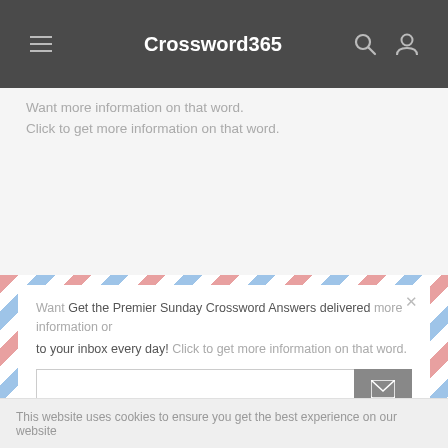Crossword365
[Figure (screenshot): Air-mail style newsletter signup popup overlay on website]
Get the Premier Sunday Crossword Answers delivered to your inbox every day!
Comments
This website uses cookies to ensure you get the best experience on our website